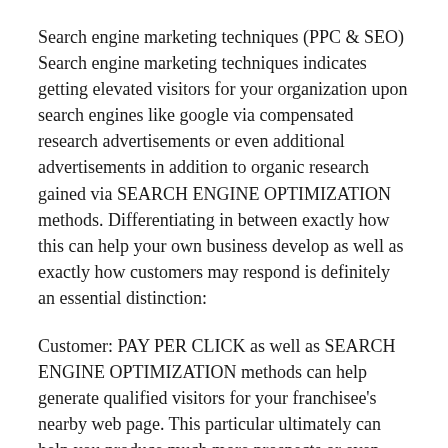Search engine marketing techniques (PPC & SEO) Search engine marketing techniques indicates getting elevated visitors for your organization upon search engines like google via compensated research advertisements or even additional advertisements in addition to organic research gained via SEARCH ENGINE OPTIMIZATION methods. Differentiating in between exactly how this can help your own business develop as well as exactly how customers may respond is definitely an essential distinction:
Customer: PAY PER CLICK as well as SEARCH ENGINE OPTIMIZATION methods can help generate qualified visitors for your franchisee's nearby web page. This particular ultimately can help you produce much more prospects or even product sales simply because your own franchisee area or even info webpages may ideally end up being proven to